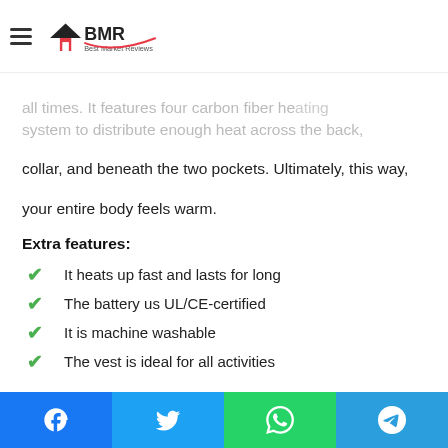BMR Best Market Reviews
all times. It features four carbon fiber heating system to distribute enough heat across the back, collar, and beneath the two pockets. Ultimately, this way, your entire body feels warm.
Extra features:
It heats up fast and lasts for long
The battery us UL/CE-certified
It is machine washable
The vest is ideal for all activities
#11 ARRIS Best Heated Vest Size Adjustable 7.4V Battery Electric W...
Facebook Twitter WhatsApp Telegram